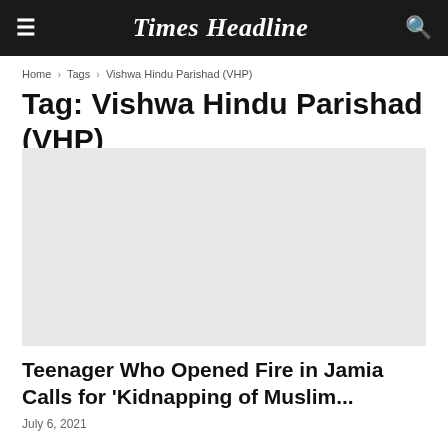Times Headline
Home › Tags › Vishwa Hindu Parishad (VHP)
Tag: Vishwa Hindu Parishad (VHP)
[Figure (photo): Article thumbnail image placeholder (light gray background)]
Teenager Who Opened Fire in Jamia Calls for 'Kidnapping of Muslim...
July 6, 2021